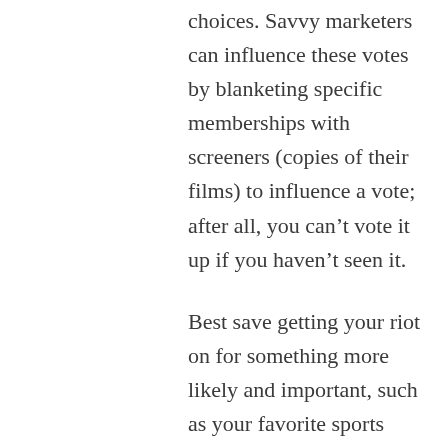choices. Savvy marketers can influence these votes by blanketing specific memberships with screeners (copies of their films) to influence a vote; after all, you can't vote it up if you haven't seen it.

Best save getting your riot on for something more likely and important, such as your favorite sports team losing (or worse yet, actually winning).